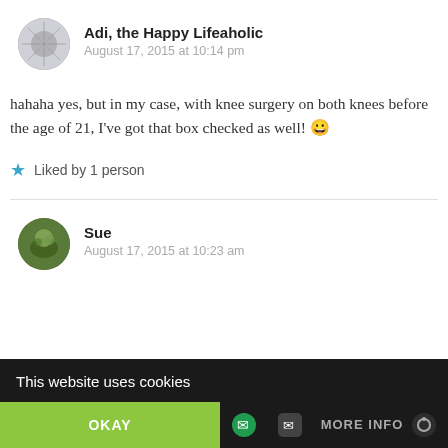Adi, the Happy Lifeaholic
August 17, 2015 at 10:14 pm
hahaha yes, but in my case, with knee surgery on both knees before the age of 21, I've got that box checked as well! 😀
★ Liked by 1 person
Sue
August 17, 2015 at 10:23 am
This website uses cookies
OKAY
MORE INFO